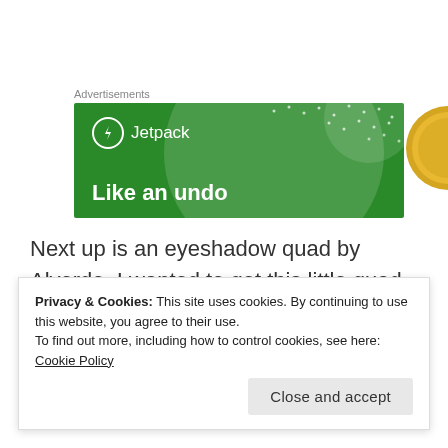Advertisements
[Figure (illustration): Jetpack advertisement banner with green background, large translucent circle, white dots, Jetpack logo with lightning bolt icon, and tagline 'Like an undo']
Next up is an eyeshadow quad by Alverde. I wanted to get this little quad for so long already, but I never really did it. But last month I finally bought it. It was
Privacy & Cookies: This site uses cookies. By continuing to use this website, you agree to their use.
To find out more, including how to control cookies, see here: Cookie Policy
Close and accept